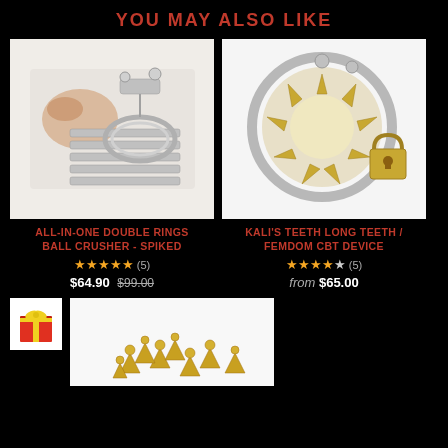YOU MAY ALSO LIKE
[Figure (photo): Metal spiked ball crusher device held in hand, silver stainless steel]
[Figure (photo): Kali's teeth CBT device, circular with gold spikes and padlock]
ALL-IN-ONE DOUBLE RINGS BALL CRUSHER - SPIKED
KALI'S TEETH LONG TEETH / FEMDOM CBT DEVICE
★★★★★ (5) $64.90 $99.00
★★★★★ (5) from $65.00
[Figure (photo): Small gold metallic spikes/screws scattered on white background]